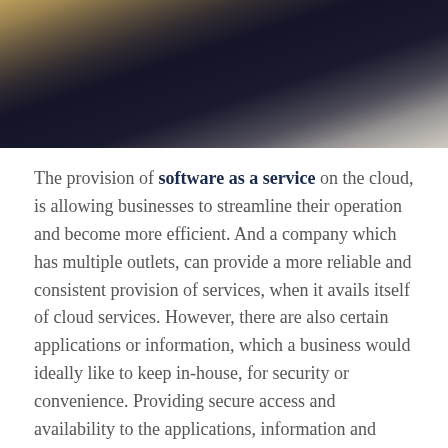[Figure (photo): Top portion of a photo showing a dark desk/table surface with papers or a book, partially visible, with dark navy and beige tones]
The provision of software as a service on the cloud, is allowing businesses to streamline their operation and become more efficient. And a company which has multiple outlets, can provide a more reliable and consistent provision of services, when it avails itself of cloud services. However, there are also certain applications or information, which a business would ideally like to keep in-house, for security or convenience. Providing secure access and availability to the applications, information and services of a business is becoming more difficult.
When employees of a firm connect to several services, supplied by different cloud service providers, there is a